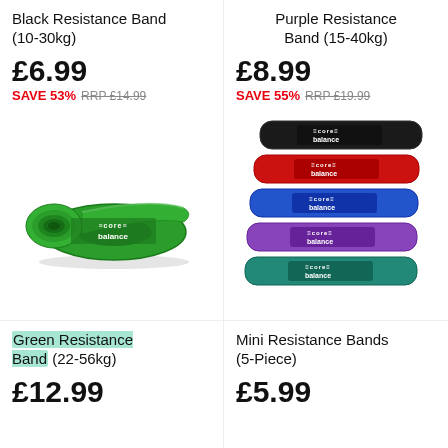Black Resistance Band (10-30kg)
£6.99
SAVE 53% RRP £14.99
[Figure (photo): Green long resistance band coiled, with core balance logo]
Purple Resistance Band (15-40kg)
£8.99
SAVE 55% RRP £19.99
[Figure (photo): Stack of 5 mini resistance bands in black, red, blue, purple, green with core balance logo]
Green Resistance Band (22-56kg)
£12.99
Mini Resistance Bands (5-Piece)
£5.99